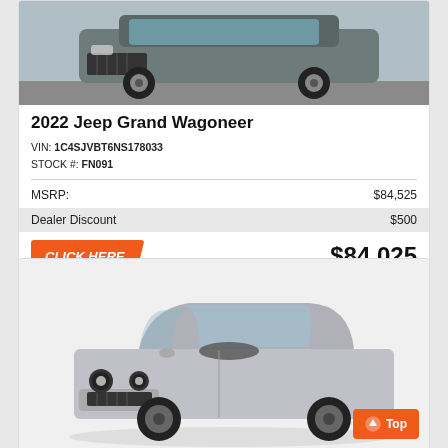[Figure (photo): Front view of a gray 2022 Jeep Grand Wagoneer SUV parked in a lot]
2022 Jeep Grand Wagoneer
VIN: 1C4SJVBT6NS178033
STOCK #: FN091
| MSRP: | $84,525 |
| Dealer Discount | $500 |
CLICK HERE   $84,025
[Figure (photo): Silver Dodge Challenger muscle car shown from front 3/4 angle with a 'Top' navigation button overlay]